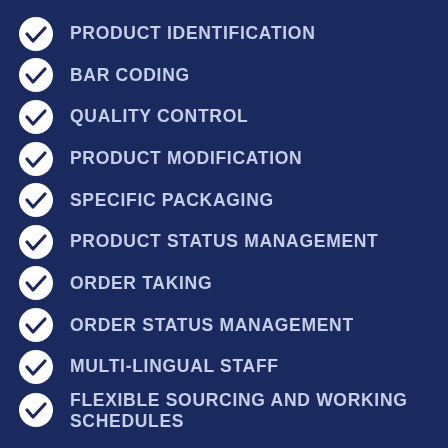PRODUCT IDENTIFICATION
BAR CODING
QUALITY CONTROL
PRODUCT MODIFICATION
SPECIFIC PACKAGING
PRODUCT STATUS MANAGEMENT
ORDER TAKING
ORDER STATUS MANAGEMENT
MULTI-LINGUAL STAFF
FLEXIBLE SOURCING AND WORKING SCHEDULES